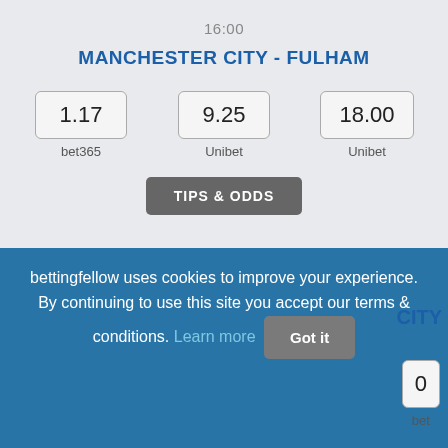16:00
MANCHESTER CITY - FULHAM
| Home | Draw | Away |
| --- | --- | --- |
| 1.17 | 9.25 | 18.00 |
| bet365 | Unibet | Unibet |
TIPS & ODDS
bettingfellow uses cookies to improve your experience. By continuing to use this site you accept our terms & conditions. Learn more  Got it
CITY
0
bet